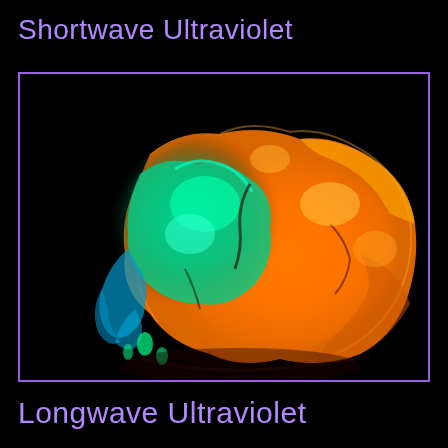Shortwave Ultraviolet
[Figure (photo): Fluorescent mineral specimen photographed under shortwave ultraviolet light, showing vivid orange and green-teal fluorescence colors against a black background. The rock specimen glows orange (calcite or willemite) and bright green-teal (willemite or other fluorescent mineral) under UV illumination.]
Longwave Ultraviolet